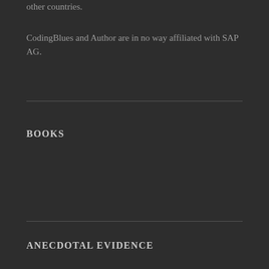other countries.
CodingBlues and Author are in no way affiliated with SAP AG.
BOOKS
ANECDOTAL EVIDENCE